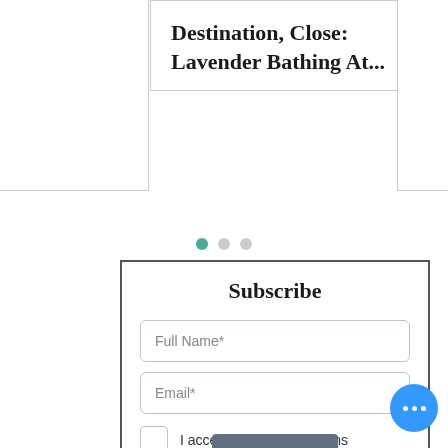Destination, Close: Lavender Bathing At...
[Figure (other): Carousel pagination dots: one teal active dot and two grey inactive dots]
Subscribe
Full Name*
Email*
I accept terms & conditions
By submitting your information you agree to receive e...ard F...News and M...offers an...
Submit